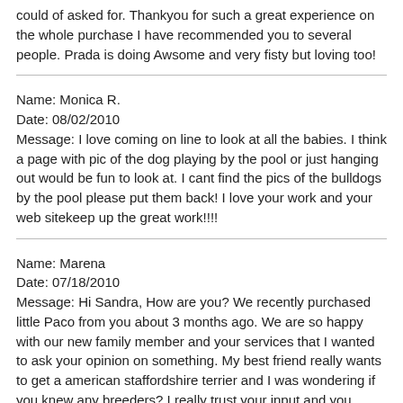Message: We are so proud with our little "Prada" she is all we could of asked for. Thankyou for such a great experience on the whole purchase I have recommended you to several people. Prada is doing Awsome and very fisty but loving too!
Name: Monica R.
Date: 08/02/2010
Message: I love coming on line to look at all the babies. I think a page with pic of the dog playing by the pool or just hanging out would be fun to look at. I cant find the pics of the bulldogs by the pool please put them back! I love your work and your web sitekeep up the great work!!!!
Name: Marena
Date: 07/18/2010
Message: Hi Sandra, How are you? We recently purchased little Paco from you about 3 months ago. We are so happy with our new family member and your services that I wanted to ask your opinion on something. My best friend really wants to get a american staffordshire terrier and I was wondering if you knew any breeders? I really trust your input and you came to mind